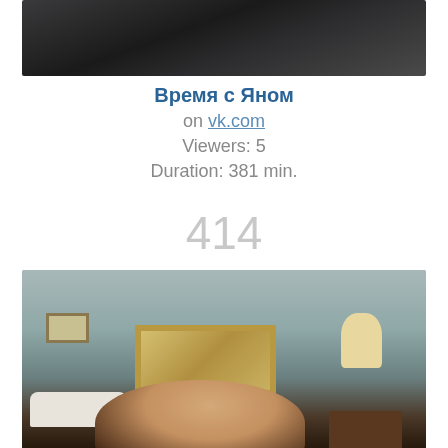[Figure (photo): Dark stream thumbnail showing chains or dark objects on black/grey background]
Время с Яном
on vk.com
Viewers: 5
Duration: 381 min.
414
[Figure (photo): Stream thumbnail showing a person (woman with dark hair) in a living room with a mirror, lamp, couch, and dresser]
pastelbunnee_exe
on twitch.tv